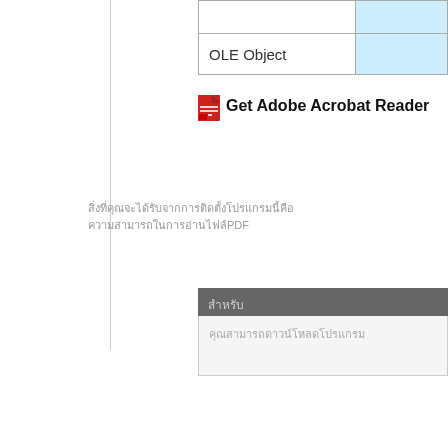|  |  |
| --- | --- |
| OLE Object |  |
[Figure (illustration): Adobe Acrobat PDF icon (red and white document icon)]
Get Adobe Acrobat Reader
[Thai/non-Latin text placeholder — body paragraph text in gray]
[Thai/non-Latin section header text in gray on dark background]
[Thai/non-Latin body text in light gray inside section box]